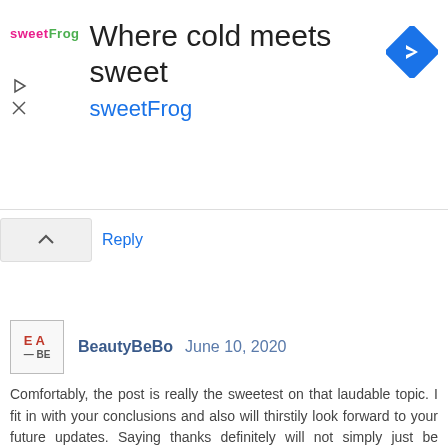[Figure (screenshot): sweetFrog advertisement banner with logo, title 'Where cold meets sweet', sweetFrog subtitle, and navigation icon]
Reply
BeautyBeBo  June 10, 2020
Comfortably, the post is really the sweetest on that laudable topic. I fit in with your conclusions and also will thirstily look forward to your future updates. Saying thanks definitely will not simply just be sufficient, for the fantastic clarity in your writing. I will promptly grab your rss feed to stay privy of any kind of updates. Pleasant work and much success in your business efforts.
Lotus Phyto Rx Sunscreen
Buy Eyeshadow Palette Online
Colorbar Makeup Pouch
Reply